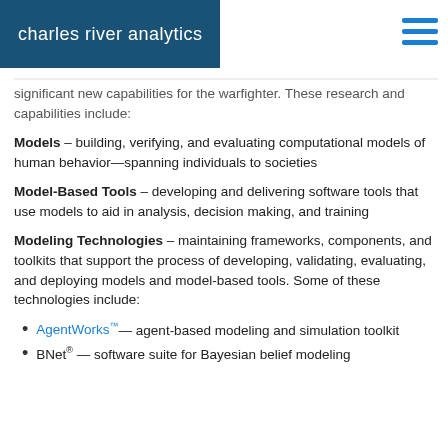charles river analytics
significant new capabilities for the warfighter. These research and capabilities include:
Models – building, verifying, and evaluating computational models of human behavior—spanning individuals to societies
Model-Based Tools – developing and delivering software tools that use models to aid in analysis, decision making, and training
Modeling Technologies – maintaining frameworks, components, and toolkits that support the process of developing, validating, evaluating, and deploying models and model-based tools. Some of these technologies include:
AgentWorks™ — agent-based modeling and simulation toolkit
BNet® — software suite for Bayesian belief modeling